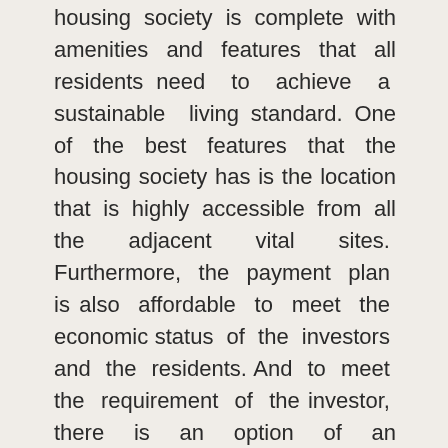housing society is complete with amenities and features that all residents need to achieve a sustainable living standard. One of the best features that the housing society has is the location that is highly accessible from all the adjacent vital sites. Furthermore, the payment plan is also affordable to meet the economic status of the investors and the residents. And to meet the requirement of the investor, there is an option of an instalment program also.
Therefore, investing here will be valuable if investors look to make a dream home. Secondly, from an economic standpoint,